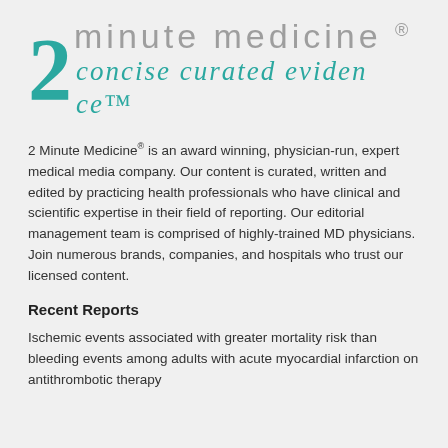[Figure (logo): 2 Minute Medicine logo with large teal '2', 'minute medicine ®' in gray, and 'concise curated evidence™' in teal italic below]
2 Minute Medicine® is an award winning, physician-run, expert medical media company. Our content is curated, written and edited by practicing health professionals who have clinical and scientific expertise in their field of reporting. Our editorial management team is comprised of highly-trained MD physicians. Join numerous brands, companies, and hospitals who trust our licensed content.
Recent Reports
Ischemic events associated with greater mortality risk than bleeding events among adults with acute myocardial infarction on antithrombotic therapy